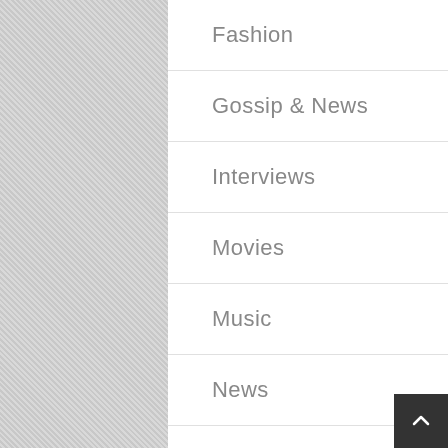Fashion
Gossip & News
Interviews
Movies
Music
News
Sports
Television
Uncategorized